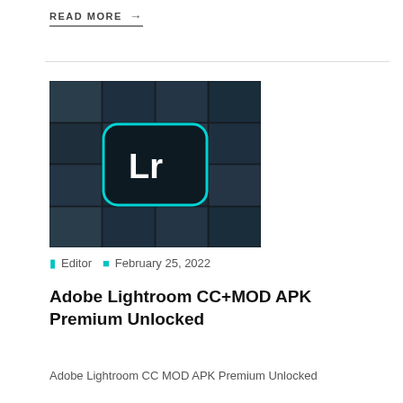READ MORE →
[Figure (photo): Adobe Lightroom CC app icon on a dark photo collage background showing various landscape photographs, with the Lr logo in teal/cyan rounded rectangle in the center]
Editor   February 25, 2022
Adobe Lightroom CC+MOD APK Premium Unlocked
Adobe Lightroom CC MOD APK Premium Unlocked